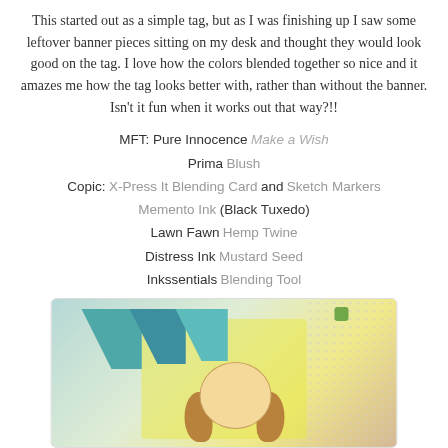This started out as a simple tag, but as I was finishing up I saw some leftover banner pieces sitting on my desk and thought they would look good on the tag. I love how the colors blended together so nice and it amazes me how the tag looks better with, rather than without the banner. Isn't it fun when it works out that way?!!
MFT: Pure Innocence Make a Wish
Prima Blush
Copic: X-Press It Blending Card and Sketch Markers
Memento Ink (Black Tuxedo)
Lawn Fawn Hemp Twine
Distress Ink Mustard Seed
Inkssentials Blending Tool
Tombow Mono Multi Liquid Glue
[Figure (photo): Craft card/tag showing a cartoon girl with blonde pigtails, teal/blue pennant banners, yellow-green background, and dotted pattern]